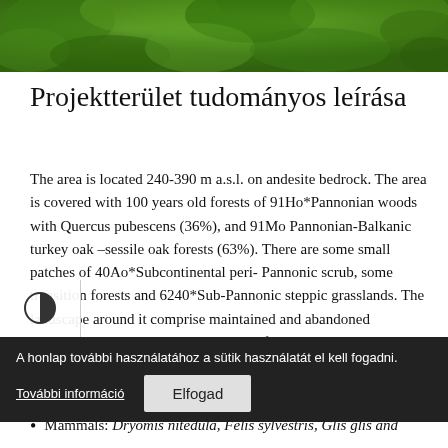[Figure (photo): Aerial or close-up view of green forest canopy / treetops]
Projektterület tudományos leírása
The area is located 240-390 m a.s.l. on andesite bedrock. The area is covered with 100 years old forests of 91Ho*Pannonian woods with Quercus pubescens (36%), and 91Mo Pannonian-Balkanic turkey oak –sessile oak forests (63%). There are some small patches of 40Ao*Subcontinental peri- Pannonic scrub, some transition forests and 6240*Sub-Pannonic steppic grasslands. The landscape around it comprise maintained and abandoned grasslands, abandoned wine yards and forests. There wasn't any forestry operation during the last decades, therefore the plants are enriched in the area with large number of protected species such as Aconitum anthora, Allium paniculatum, Ecium russicum, and Robinia a pseudoacacia for... Animals of the area
Mammals: Dryomis nitedula, Felis sylvestris, Glis glis and